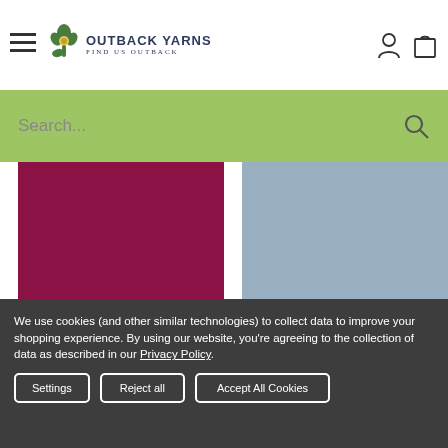[Figure (logo): Outback Yarns logo with decorative plant icon and text 'OUTBACK YARNS FIND US OUTBACK']
[Figure (screenshot): Green search bar with placeholder text 'Search...' and magnifying glass icon]
[Figure (photo): Two yarn color swatches side by side: left is dark burgundy/maroon, right is muted steel blue]
We use cookies (and other similar technologies) to collect data to improve your shopping experience. By using our website, you're agreeing to the collection of data as described in our Privacy Policy.
Settings  Reject all  Accept All Cookies